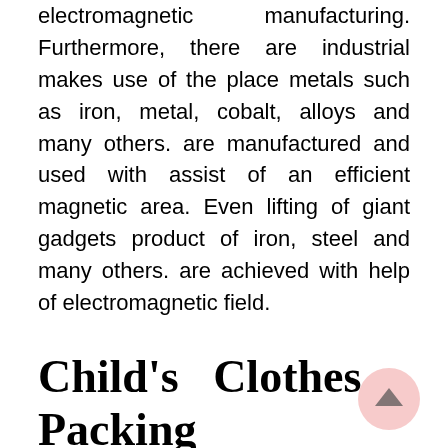electromagnetic manufacturing. Furthermore, there are industrial makes use of the place metals such as iron, metal, cobalt, alloys and many others. are manufactured and used with assist of an efficient magnetic area. Even lifting of giant gadgets product of iron, steel and many others. are achieved with help of electromagnetic field.
Child's Clothes Packing containers
The term streetwear is frequent place in immediately's vogue world. Inexperienced